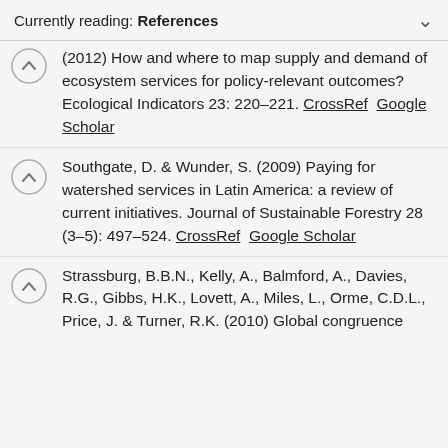Currently reading: References
(2012) How and where to map supply and demand of ecosystem services for policy-relevant outcomes? Ecological Indicators 23: 220–221. CrossRef  Google Scholar
Southgate, D. & Wunder, S. (2009) Paying for watershed services in Latin America: a review of current initiatives. Journal of Sustainable Forestry 28 (3–5): 497–524. CrossRef  Google Scholar
Strassburg, B.B.N., Kelly, A., Balmford, A., Davies, R.G., Gibbs, H.K., Lovett, A., Miles, L., Orme, C.D.L., Price, J. & Turner, R.K. (2010) Global congruence